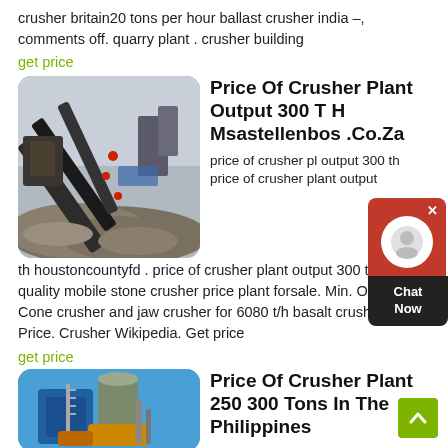crusher britain20 tons per hour ballast crusher india –, comments off. quarry plant . crusher building
get price
[Figure (photo): Industrial conveyor belt system at a stone crusher plant with large piles of crushed rock and machinery]
Price Of Crusher Plant Output 300 T H Msastellenbos .Co.Za
price of crusher plant output 300 th price of crusher plant output th houstoncountyfd . price of crusher plant output 300 th good quality mobile stone crusher price plant forsale. Min. Order . Cone crusher and jaw crusher for 6080 t/h basalt crushing . Get Price. Crusher Wikipedia. Get price
get price
[Figure (photo): Industrial crusher plant equipment with blue machinery and silo against blue sky]
Price Of Crusher Plant 250 300 Tons In The Philippines